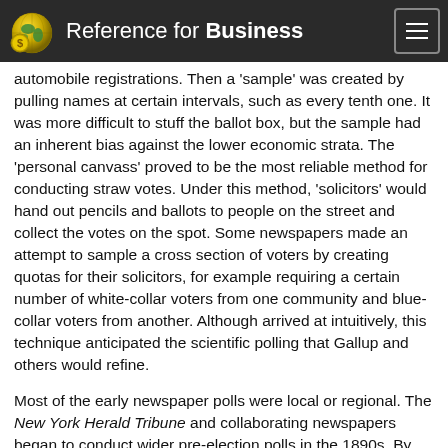Reference for Business
later technique, the mail ballot, selected names from such-es de telephone directories, registered voter lists, and automobile registrations. Then a 'sample' was created by pulling names at certain intervals, such as every tenth one. It was more difficult to stuff the ballot box, but the sample had an inherent bias against the lower economic strata. The 'personal canvass' proved to be the most reliable method for conducting straw votes. Under this method, 'solicitors' would hand out pencils and ballots to people on the street and collect the votes on the spot. Some newspapers made an attempt to sample a cross section of voters by creating quotas for their solicitors, for example requiring a certain number of white-collar voters from one community and blue-collar voters from another. Although arrived at intuitively, this technique anticipated the scientific polling that Gallup and others would refine.
Most of the early newspaper polls were local or regional. The New York Herald Tribune and collaborating newspapers began to conduct wider pre-election polls in the 1890s. By 1912 they polling in 35 states. The Hearst...